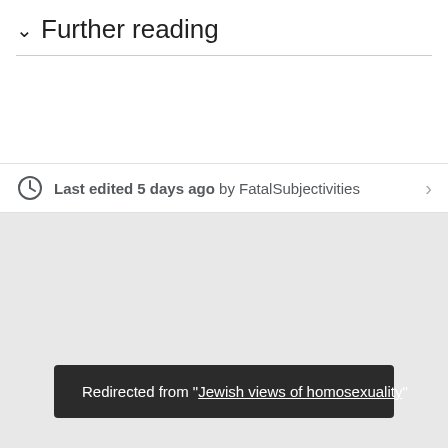Further reading
Last edited 5 days ago by FatalSubjectivities
Redirected from "Jewish views of homosexuality"